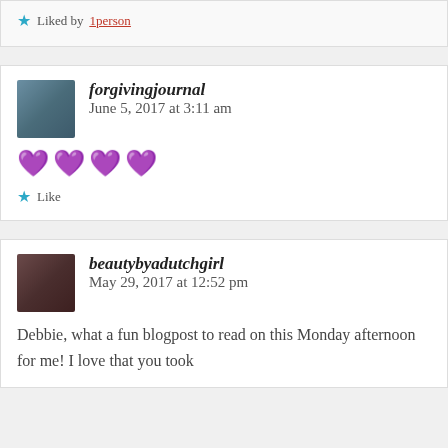Liked by 1person
forgivingjournal   June 5, 2017 at 3:11 am
💜💜💜💜
Like
beautybyadutchgirl   May 29, 2017 at 12:52 pm
Debbie, what a fun blogpost to read on this Monday afternoon for me! I love that you took